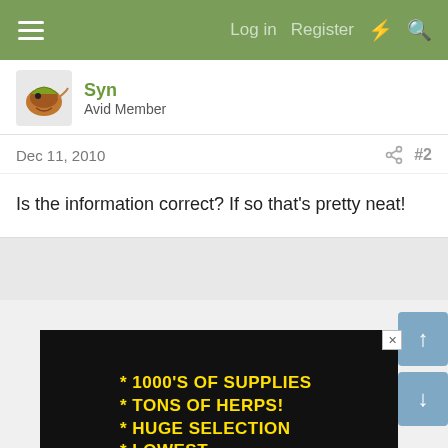Log in  Register
Syn
Avid Member
Dec 11, 2010  #2
Is the information correct? If so that's pretty neat!
[Figure (photo): Advertisement banner with black background showing a chameleon and yellow text: * 1000'S OF SUPPLIES  * TONS OF HERPS!  * HUGE SELECTION  * LOWEST PRICES !!!]